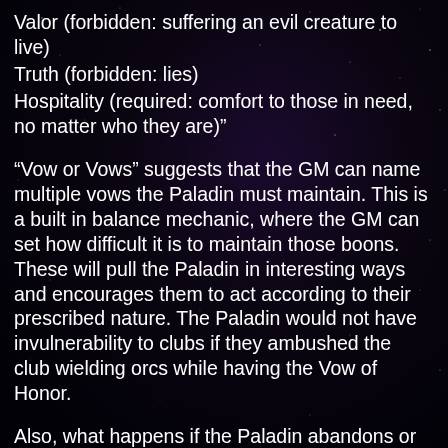Valor (forbidden: suffering an evil creature to live)
Truth (forbidden: lies)
Hospitality (required: comfort to those in need, no matter who they are)”
“Vow or Vows” suggests that the GM can name multiple vows the Paladin must maintain. This is a built in balance mechanic, where the GM can set how difficult it is to maintain those boons. These will pull the Paladin in interesting ways and encourages them to act according to their prescribed nature. The Paladin would not have invulnerability to clubs if they ambushed the club wielding orcs while having the Vow of Honor.
Also, what happens if the Paladin abandons or fails